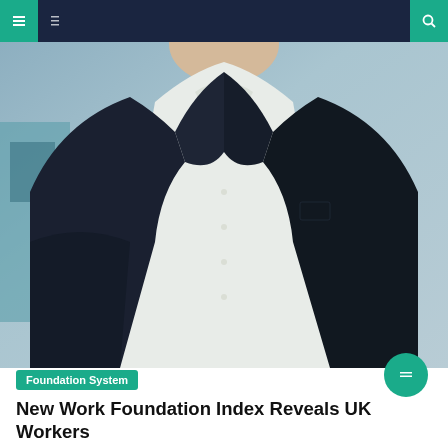navigation bar with menu and search icons
[Figure (photo): Close-up photo of a person in a dark navy suit jacket and open white dress shirt, photographed from chest/neck area, with a blurred blue-grey background]
Foundation System
New Work Foundation Index Reveals UK Workers